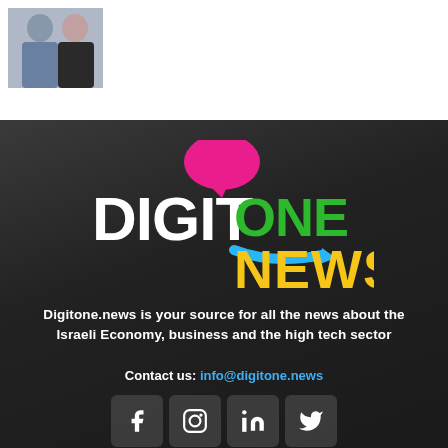[Figure (photo): Two people (a man and a woman) shown in a small photo in the top-left corner on a white background]
[Figure (logo): DigitOne News logo on dark background: white bold 'DIGIT', green 'ONE', blue arrow, yellow bold 'NEWS', with a pink speech bubble above]
Digitone.news is your source for all the news about the Israeli Economy, business and the high tech sector
Contact us: info@digitone.news
[Figure (infographic): Four social media icon boxes (Facebook, Instagram, LinkedIn, Twitter) in a row]